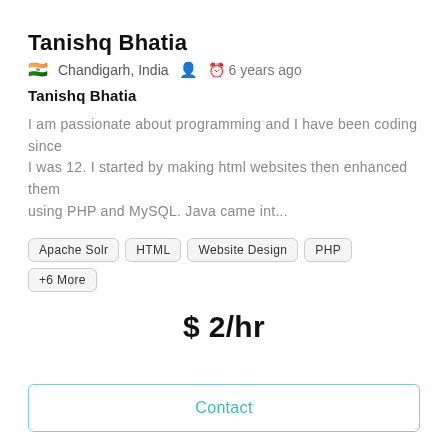Tanishq Bhatia
🇮🇳 Chandigarh, India   👤   🕐 6 years ago
Tanishq Bhatia
I am passionate about programming and I have been coding since I was 12. I started by making html websites then enhanced them using PHP and MySQL. Java came int...
Apache Solr
HTML
Website Design
PHP
+6 More
$ 2/hr
Contact